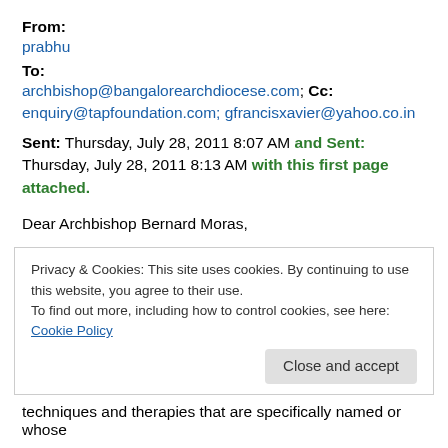From:
prabhu
To:
archbishop@bangalorearchdiocese.com; Cc: enquiry@tapfoundation.com; gfrancisxavier@yahoo.co.in
Sent: Thursday, July 28, 2011 8:07 AM and Sent: Thursday, July 28, 2011 8:13 AM with this first page attached.
Dear Archbishop Bernard Moras,
Privacy & Cookies: This site uses cookies. By continuing to use this website, you agree to their use. To find out more, including how to control cookies, see here: Cookie Policy
Close and accept
techniques and therapies that are specifically named or whose